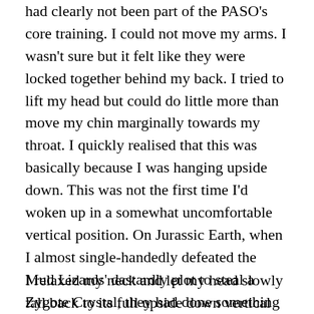had clearly not been part of the PASO's core training. I could not move my arms. I wasn't sure but it felt like they were locked together behind my back. I tried to lift my head but could do little more than move my chin marginally towards my throat. I quickly realised that this was basically because I was hanging upside down. This was not the first time I'd woken up in a somewhat uncomfortable vertical position. On Jurassic Earth, when I almost single-handedly defeated the Mud Lizards' dastardly plot to steal a Zygote Crystal, they had done something similar to me. So I kind of knew what it felt like.
I relaxed my neck and let my head slowly fall back to its full upside down vertical position